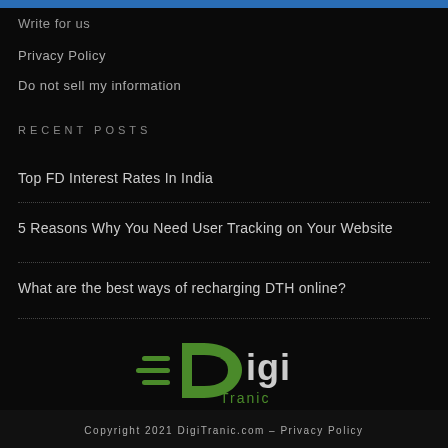Write for us
Privacy Policy
Do not sell my information
RECENT POSTS
Top FD Interest Rates In India
5 Reasons Why You Need User Tracking on Your Website
What are the best ways of recharging DTH online?
[Figure (logo): DigiTranic logo with green D icon and speed lines]
Copyright 2021 DigiTranic.com – Privacy Policy